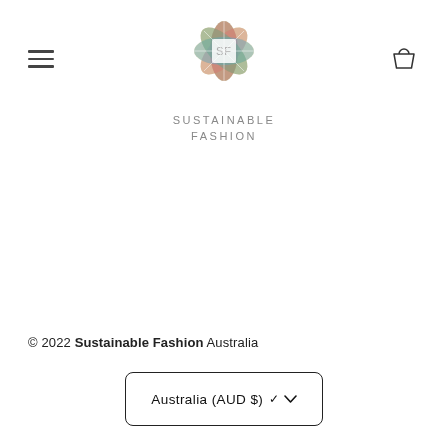[Figure (logo): Sustainable Fashion logo — colorful star/flower shape made of leaf-like petals in green, yellow, orange, red, pink, and blue, with 'SF' text in the center. Below the logo: 'SUSTAINABLE FASHION' in spaced gray capitals.]
© 2022 Sustainable Fashion Australia
Australia (AUD $) ˅